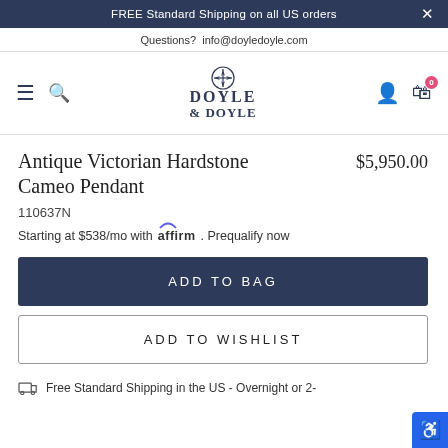FREE Standard Shipping on all US orders
Questions?  info@doyledoyle.com
[Figure (logo): Doyle & Doyle logo with compass star icon, serif font, navy color]
Antique Victorian Hardstone Cameo Pendant
$5,950.00
110637N
Starting at $538/mo with Affirm. Prequalify now
ADD TO BAG
ADD TO WISHLIST
Free Standard Shipping in the US - Overnight or 2-